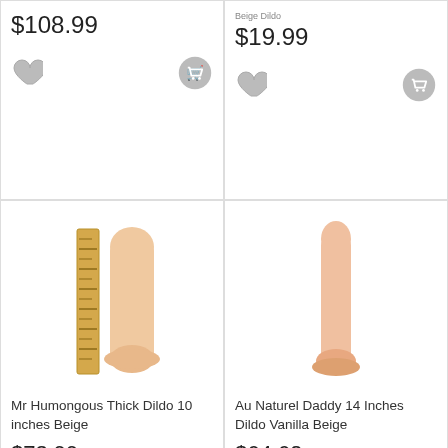$108.99
$19.99
[Figure (photo): Mr Humongous Thick Dildo 10 inches Beige product photo with ruler for scale]
[Figure (photo): Au Naturel Daddy 14 Inches Dildo Vanilla Beige product photo]
Mr Humongous Thick Dildo 10 inches Beige
$73.99
Au Naturel Daddy 14 Inches Dildo Vanilla Beige
$64.62
[Figure (photo): Dark brown dildo product photo, partially visible at bottom]
[Figure (photo): Clear glass dildo with ball texture, partially visible at bottom]